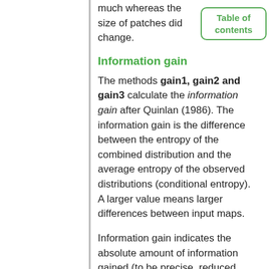much whereas the size of patches did change.
Information gain
The methods gain1, gain2 and gain3 calculate the information gain after Quinlan (1986). The information gain is the difference between the entropy of the combined distribution and the average entropy of the observed distributions (conditional entropy). A larger value means larger differences between input maps.
Information gain indicates the absolute amount of information gained (to be precise, reduced uncertainty) when considering the individual input maps instead of their combination. When cells and patches are distributed over a large number of categories and a large number of size classes, information gain tends to over-estimate changes.
The information gain can be zero even if all